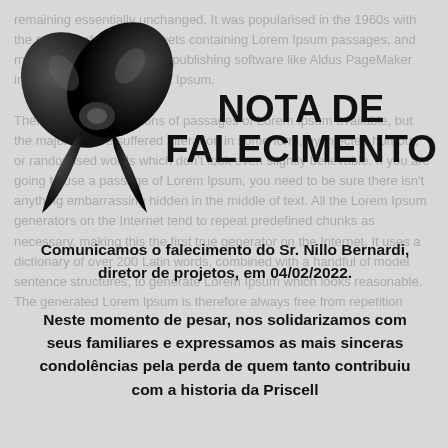remaining essentially unchanged. It was popularised in the 1960s with the release of Letraset sheets containing Lorem Ipsum passages, and more recently with desktop publishing software like Aldus PageMaker including versions of Lorem Ipsum. There are many variations of passages of Lorem Ipsum available, but the majority have suffered alteration in some form, by injected humour, or randomised words which don't look even slightly believable. If you are going to use a passage of Lorem Ipsum, you need to be sure there isn't anything embarrassing hidden in the middle of text. All the Lorem Ipsum generators on the Internet tend to repeat predefined chunks as necessary, making this the first true generator on the Internet. It uses a dictionary of over 200 Latin words, combined with a handful of model sentence structures, to generate Lorem Ipsum which looks reasonable. The generated Lorem Ipsum is therefore always free from repetition
[Figure (illustration): Black mourning ribbon/bow]
NOTA DE FALECIMENTO
Comunicamos o falecimento do Sr. Nillo Bernardi, diretor de projetos, em 04/02/2022.

Neste momento de pesar, nos solidarizamos com seus familiares e expressamos as mais sinceras condolências pela perda de quem tanto contribuiu com a historia da Priscell